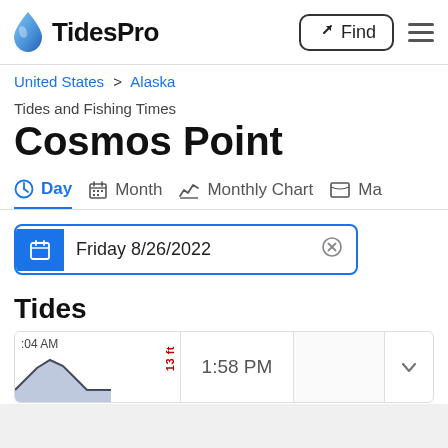TidesPro – Find – Menu
United States > Alaska
Tides and Fishing Times
Cosmos Point
Day  Month  Monthly Chart  Ma
Friday 8/26/2022
Tides
:04 AM  1:58 PM  13 ft